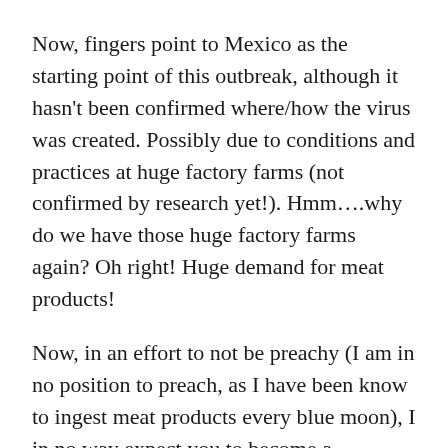Now, fingers point to Mexico as the starting point of this outbreak, although it hasn't been confirmed where/how the virus was created. Possibly due to conditions and practices at huge factory farms (not confirmed by research yet!). Hmm….why do we have those huge factory farms again? Oh right! Huge demand for meat products!
Now, in an effort to not be preachy (I am in no position to preach, as I have been know to ingest meat products every blue moon), I in no way expect you to become a vegetarian. That is a personal decision that requires a lot of research and thought. But what are small ways we can all change to maybe take the pressure off intensive livestock practices that are not in the best interest of the future of our society?
1) You can eat one less meal with meat a week. That's